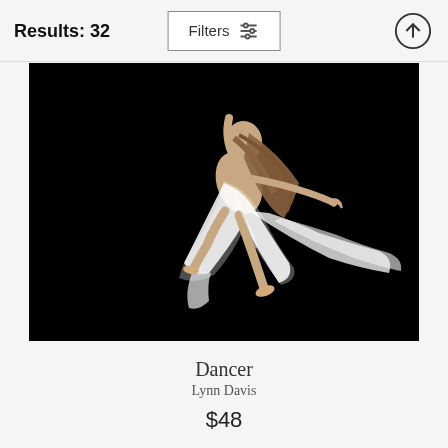Results: 32
Filters
[Figure (photo): A ballet dancer mid-air wearing a flowing white dress against a black background, arms and legs extended gracefully]
Dancer
Lynn Davis
$48